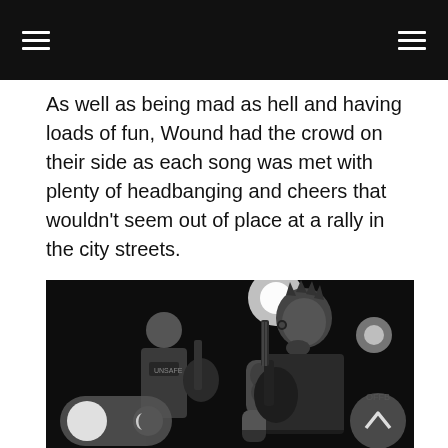As well as being mad as hell and having loads of fun, Wound had the crowd on their side as each song was met with plenty of headbanging and cheers that wouldn’t seem out of place at a rally in the city streets.
[Figure (photo): Black and white concert photo of two musicians on stage. A tattooed guitarist with spiky hair in the foreground playing guitar, another musician visible behind them, stage lights visible in the background. UI elements overlaid: a dark-mode toggle switch (bottom left) and an up-arrow circular button (bottom right).]